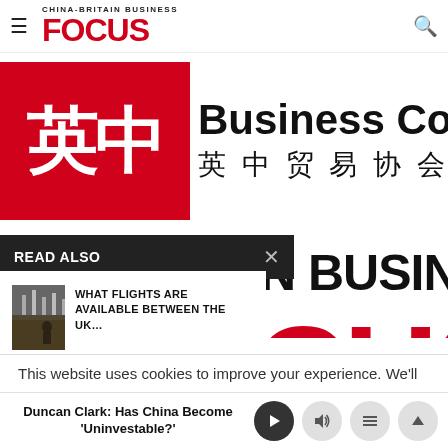CHINA-BRITAIN BUSINESS FOCUS
[Figure (logo): China-Britain Business Council logo with red square containing Chinese characters and text 'Business Council 英中贸易协会']
READ ALSO
[Figure (photo): Woman at airport departure board]
WHAT FLIGHTS ARE AVAILABLE BETWEEN THE UK...
[Figure (photo): Airplane in flight against blue sky]
DIRECT FLIGHTS BETWEEN THE UK AND CHINA...
[Figure (logo): Large background China-Britain Business Focus logo showing 'N BUSINESS' and 'CUS' in red]
This website uses cookies to improve your experience. We'll
Duncan Clark: Has China Become 'Uninvestable?'